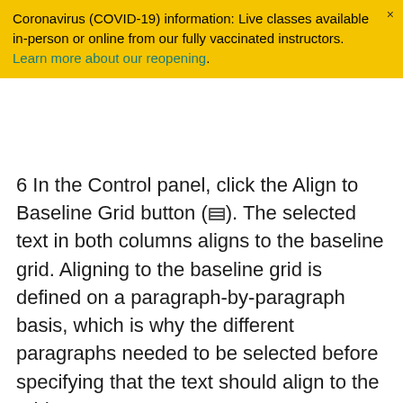Coronavirus (COVID-19) information: Live classes available in-person or online from our fully vaccinated instructors. Learn more about our reopening.
6 In the Control panel, click the Align to Baseline Grid button (☰). The selected text in both columns aligns to the baseline grid. Aligning to the baseline grid is defined on a paragraph-by-paragraph basis, which is why the different paragraphs needed to be selected before specifying that the text should align to the grid.
7 Choose View > Grids & Guides > Hide Baseline Grid, and then choose File > Save to save your work.